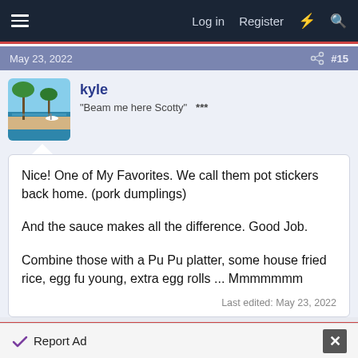Log in  Register
May 23, 2022   #15
kyle
"Beam me here Scotty"   ***
Nice! One of My Favorites. We call them pot stickers back home. (pork dumplings)

And the sauce makes all the difference. Good Job.

Combine those with a Pu Pu platter, some house fried rice, egg fu young, extra egg rolls ... Mmmmmmm

Last edited: May 23, 2022
Report Ad